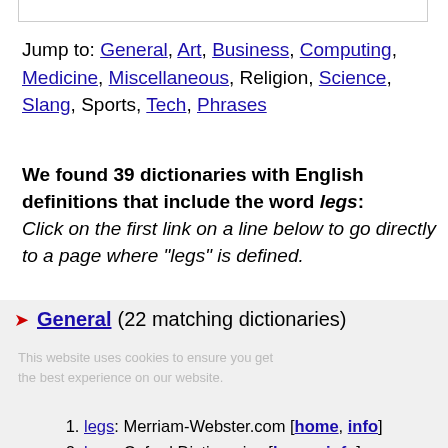Jump to: General, Art, Business, Computing, Medicine, Miscellaneous, Religion, Science, Slang, Sports, Tech, Phrases
We found 39 dictionaries with English definitions that include the word legs: Click on the first link on a line below to go directly to a page where "legs" is defined.
General (22 matching dictionaries)
This website uses cookies to ensure you get the best experience on our website.
legs: Merriam-Webster.com [home, info]
legs: Oxford Dictionaries [home, info]
legs: Collins English Dictionary [home, info]
legs: Vocabulary.com [home, info]
legs: Macmillan Dictionary [home, info]
Leg's, Legs, leg's, legs: Wordnik [home, info]